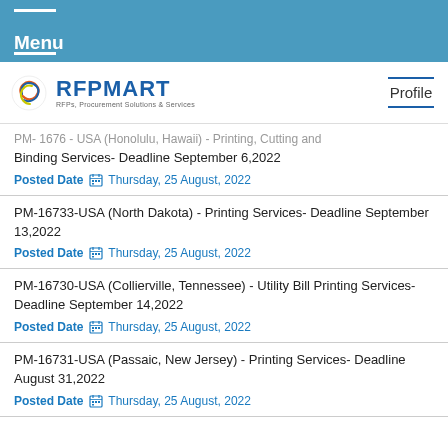Menu
[Figure (logo): RFPMART logo with swirl icon and tagline: RFPs, Procurement Solutions & Services]
PM- ... - USA (Honolulu, Hawaii) - Printing, Cutting and Binding Services- Deadline September 6,2022
Posted Date   Thursday, 25 August, 2022
PM-16733-USA (North Dakota) - Printing Services- Deadline September 13,2022
Posted Date   Thursday, 25 August, 2022
PM-16730-USA (Collierville, Tennessee) - Utility Bill Printing Services- Deadline September 14,2022
Posted Date   Thursday, 25 August, 2022
PM-16731-USA (Passaic, New Jersey) - Printing Services- Deadline August 31,2022
Posted Date   Thursday, 25 August, 2022